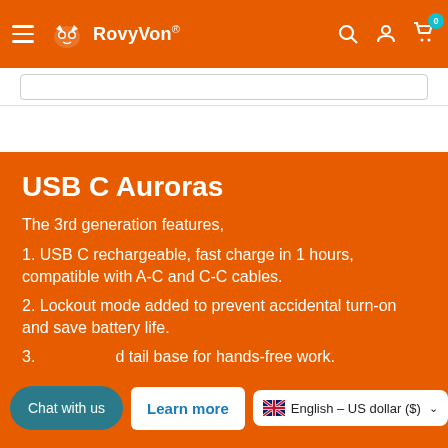RovyVon® — navigation header with hamburger menu, logo, search, user, and cart icons
USB C Auroras
The 3rd generation features,
1. USB C rechargeable, fast charge in 1 hours, compatible with A-C and C-C cables.
2. Lockout mode added to prevent accidental turn-on and save battery life.
3. [obscured] tail base for hands-free work.
Chat with us
Learn more
English – US dollar ($)